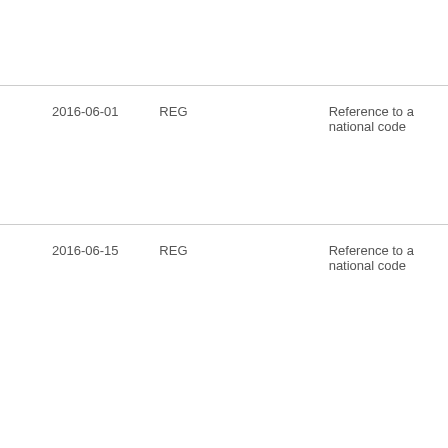| Date | Type | Description |
| --- | --- | --- |
| 2016-06-01 | REG | Reference to a national code |
| 2016-06-15 | REG | Reference to a national code |